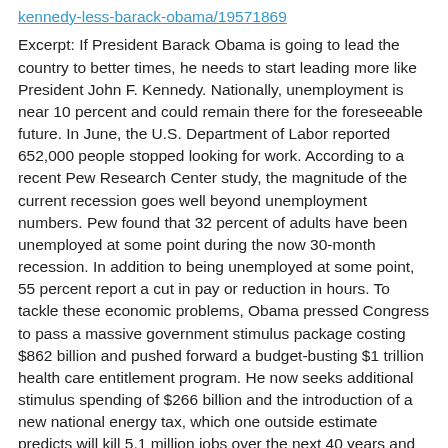kennedy-less-barack-obama/19571869
Excerpt: If President Barack Obama is going to lead the country to better times, he needs to start leading more like President John F. Kennedy. Nationally, unemployment is near 10 percent and could remain there for the foreseeable future. In June, the U.S. Department of Labor reported 652,000 people stopped looking for work. According to a recent Pew Research Center study, the magnitude of the current recession goes well beyond unemployment numbers. Pew found that 32 percent of adults have been unemployed at some point during the now 30-month recession. In addition to being unemployed at some point, 55 percent report a cut in pay or reduction in hours. To tackle these economic problems, Obama pressed Congress to pass a massive government stimulus package costing $862 billion and pushed forward a budget-busting $1 trillion health care entitlement program. He now seeks additional stimulus spending of $266 billion and the introduction of a new national energy tax, which one outside estimate predicts will kill 5.1 million jobs over the next 40 years and cost the American economy $125.9 billion per year, or $1,042 per household.